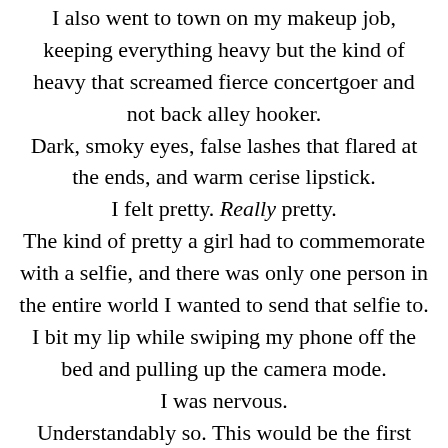I also went to town on my makeup job, keeping everything heavy but the kind of heavy that screamed fierce concertgoer and not back alley hooker. Dark, smoky eyes, false lashes that flared at the ends, and warm cerise lipstick. I felt pretty. Really pretty. The kind of pretty a girl had to commemorate with a selfie, and there was only one person in the entire world I wanted to send that selfie to. I bit my lip while swiping my phone off the bed and pulling up the camera mode. I was nervous. Understandably so. This would be the first time Brian was going to see me. Like ever. Heavy stuff right there. I'd thought about sending him pictures before, but got sidetracked with conversation and his sweet as warmed